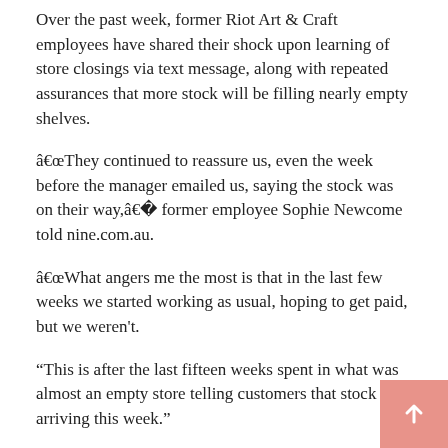Over the past week, former Riot Art & Craft employees have shared their shock upon learning of store closings via text message, along with repeated assurances that more stock will be filling nearly empty shelves.
â€œThey continued to reassure us, even the week before the manager emailed us, saying the stock was on their way,â€� former employee Sophie Newcome told nine.com.au.
â€œWhat angers me the most is that in the last few weeks we started working as usual, hoping to get paid, but we weren't.
“This is after the last fifteen weeks spent in what was almost an empty store telling customers that stock was arriving this week.”
This article was updated at 8:00 a.m. on Thursday October 29 to include additional information about Riot Stores Pty Ltd.